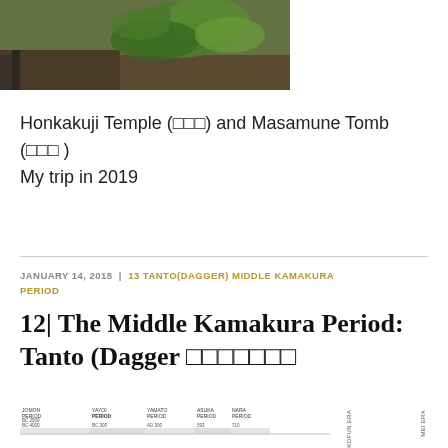[Figure (photo): Outdoor garden/temple grounds photo showing green leafy plants and gravel path]
Honkakuji Temple (□□□) and Masamune Tomb (□□□ )
My trip in 2019
JANUARY 14, 2018 | 13 TANTO(DAGGER) MIDDLE KAMAKURA PERIOD
12| The Middle Kamakura Period: Tanto (Dagger □□□□□□□
[Figure (infographic): Japanese historical period timeline showing: JOMON PERIOD BC 2500 BC 4000 BC 9000, YAYOI PERIOD BC 300, YAMATO PERIOD AD 300, ASUKA PERIOD 593, NARA PERIOD 710, with vertical text labels on right side reading KOFUN ERA and MEI ERA]